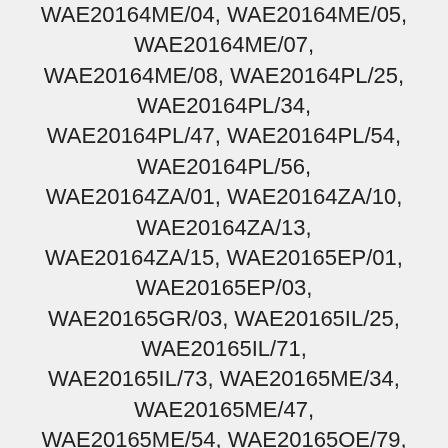WAE20164ME/04, WAE20164ME/05, WAE20164ME/07, WAE20164ME/08, WAE20164PL/25, WAE20164PL/34, WAE20164PL/47, WAE20164PL/54, WAE20164PL/56, WAE20164ZA/01, WAE20164ZA/10, WAE20164ZA/13, WAE20164ZA/15, WAE20165EP/01, WAE20165EP/03, WAE20165GR/03, WAE20165IL/25, WAE20165IL/71, WAE20165IL/73, WAE20165ME/34, WAE20165ME/47, WAE20165ME/54, WAE20165OE/79, WAE20165PL/07, WAE20165PL/30, WAE20165PL/36, WAE20165PL/40, WAE20165PL/47, WAE20166GR/01, WAE20166GR/07, WAE20166GR/08, WAE20166GR/10, WAE20166IL/79, WAE20166PL/79, WAE20166PL/86, WAE20167BY/07, WAE20167BY/25, WAE20167BY/29, WAE20167BY/30, WAE20167BY/36, WAE20167GR/01, WAE20167GR/03, WAE20168GR/43, WAE20168GR/47, WAE20168GR/54,